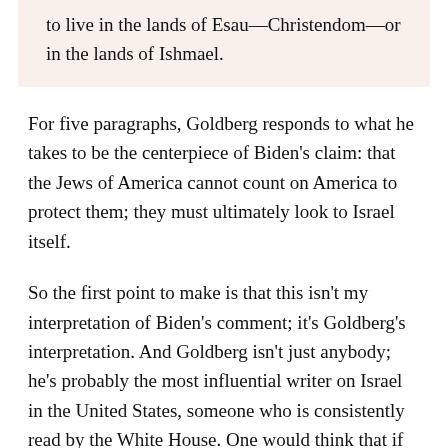to live in the lands of Esau—Christendom—or in the lands of Ishmael.
For five paragraphs, Goldberg responds to what he takes to be the centerpiece of Biden's claim: that the Jews of America cannot count on America to protect them; they must ultimately look to Israel itself.
So the first point to make is that this isn't my interpretation of Biden's comment; it's Goldberg's interpretation. And Goldberg isn't just anybody; he's probably the most influential writer on Israel in the United States, someone who is consistently read by the White House. One would think that if Goldberg got Biden wrong, the White House or Biden's office would have immediately issued a clarification. They haven't